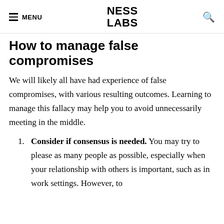MENU | NESS LABS | [search]
How to manage false compromises
We will likely all have had experience of false compromises, with various resulting outcomes. Learning to manage this fallacy may help you to avoid unnecessarily meeting in the middle.
Consider if consensus is needed. You may try to please as many people as possible, especially when your relationship with others is important, such as in work settings. However, to